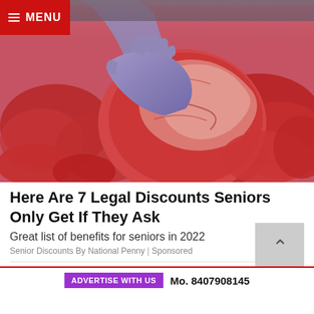MENU
[Figure (photo): Person wearing blue gloves holding a large cut of raw red meat over a display of various raw meat cuts in a butcher shop or market]
Here Are 7 Legal Discounts Seniors Only Get If They Ask
Great list of benefits for seniors in 2022
Senior Discounts By National Penny | Sponsored
ADVERTISE WITH US  Mo. 8407908145